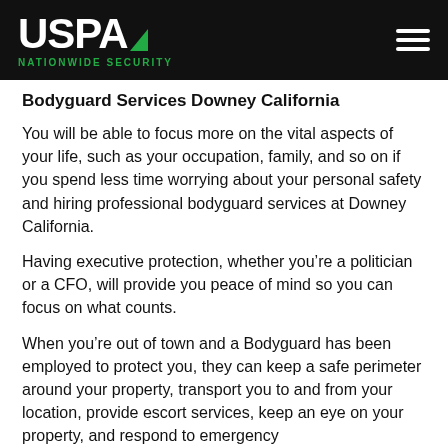USPA NATIONWIDE SECURITY
Bodyguard Services Downey California
You will be able to focus more on the vital aspects of your life, such as your occupation, family, and so on if you spend less time worrying about your personal safety and hiring professional bodyguard services at Downey California.
Having executive protection, whether you’re a politician or a CFO, will provide you peace of mind so you can focus on what counts.
When you’re out of town and a Bodyguard has been employed to protect you, they can keep a safe perimeter around your property, transport you to and from your location, provide escort services, keep an eye on your property, and respond to emergency